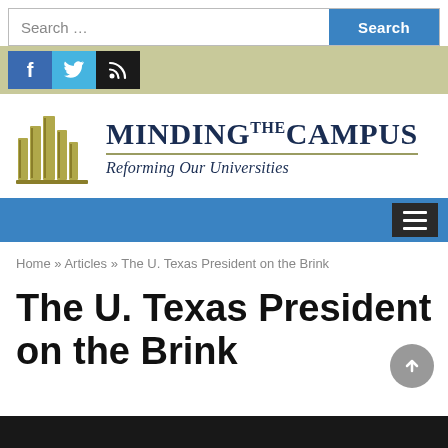[Figure (screenshot): Search bar with text input 'Search ...' and blue 'Search' button]
[Figure (screenshot): Social media icon bar with Facebook (blue), Twitter (light blue), and RSS (black) icons on olive/khaki background]
[Figure (logo): Minding The Campus logo with stylized books icon and site name 'MINDING THE CAMPUS' with tagline 'Reforming Our Universities']
[Figure (screenshot): Blue navigation bar with dark hamburger menu button on the right]
Home » Articles » The U. Texas President on the Brink
The U. Texas President on the Brink
[Figure (photo): Dark photo strip at the bottom of the page]